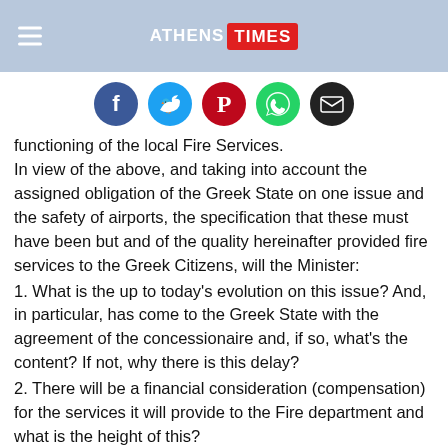ATHENS TIMES
[Figure (infographic): Social media sharing icons row: Facebook (blue), Twitter (cyan), Pinterest (red), WhatsApp (green), Email (black)]
functioning of the local Fire Services.
In view of the above, and taking into account the assigned obligation of the Greek State on one issue and the safety of airports, the specification that these must have been but and of the quality hereinafter provided fire services to the Greek Citizens, will the Minister:
1. What is the up to today's evolution on this issue? And, in particular, has come to the Greek State with the agreement of the concessionaire and, if so, what's the content? If not, why there is this delay?
2. There will be a financial consideration (compensation) for the services it will provide to the Fire department and what is the height of this?
3. How does your Ministry to fill the gaps that will arise in